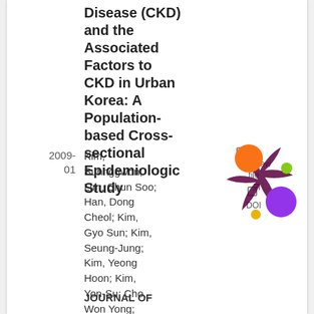Disease (CKD) and the Associated Factors to CKD in Urban Korea: A Population-based Cross-sectional Epidemiologic Study
2009-01
Kim, Suhnggwon; Lim, Chun Soo; Han, Dong Cheol; Kim, Gyo Sun; Kim, Seung-Jung; Kim, Yeong Hoon; Kim, Yon-Su; Cho, Won Yong; Chin, Ho Jun
JOURNAL OF
[Figure (logo): Colorful abstract logo with orange, purple, green, and yellow circles connected by dark purple splat shape]